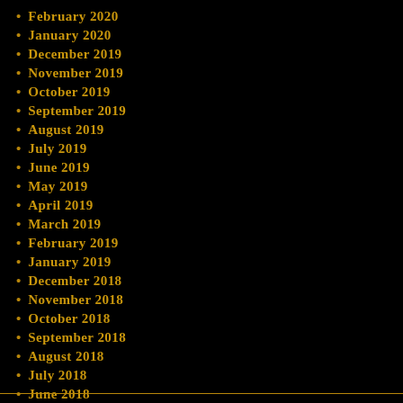February 2020
January 2020
December 2019
November 2019
October 2019
September 2019
August 2019
July 2019
June 2019
May 2019
April 2019
March 2019
February 2019
January 2019
December 2018
November 2018
October 2018
September 2018
August 2018
July 2018
June 2018
May 2018
April 2018